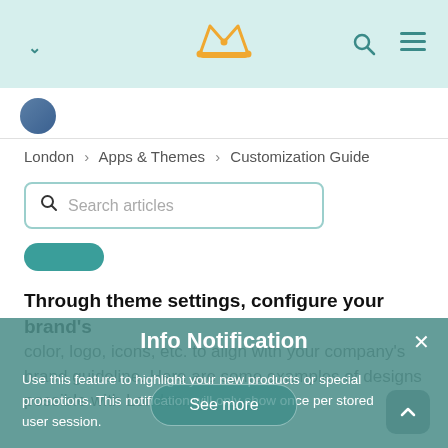London — [crown icon] — [search icon] — [menu icon]
[Figure (screenshot): Navigation header bar with teal background, chevron down icon on left, gold crown icon in center, search and hamburger menu icons on right]
London  >  Apps & Themes  >  Customization Guide
Search articles
Through theme settings, configure your brand's color, logo, icons, etc. to align with your company's brand guideline. Here are some examples of designs possible with London.
Info Notification
Use this feature to highlight your new products or special promotions. This notification will only show once per stored user session.
See more